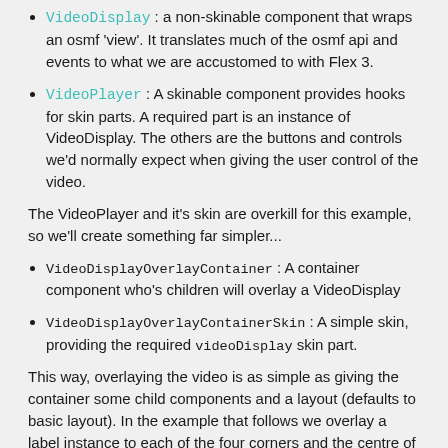VideoDisplay : a non-skinable component that wraps an osmf 'view'. It translates much of the osmf api and events to what we are accustomed to with Flex 3.
VideoPlayer : A skinable component provides hooks for skin parts. A required part is an instance of VideoDisplay. The others are the buttons and controls we'd normally expect when giving the user control of the video.
The VideoPlayer and it's skin are overkill for this example, so we'll create something far simpler...
VideoDisplayOverlayContainer : A container component who's children will overlay a VideoDisplay
VideoDisplayOverlayContainerSkin : A simple skin, providing the required videoDisplay skin part.
This way, overlaying the video is as simple as giving the container some child components and a layout (defaults to basic layout). In the example that follows we overlay a label instance to each of the four corners and the centre of the